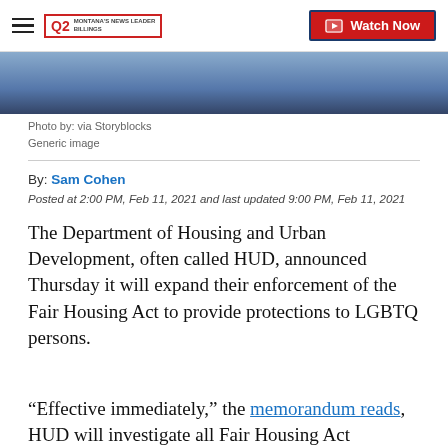Q2 Montana's News Leader | Watch Now
[Figure (photo): Partial photo of a person, cropped — generic news image]
Photo by: via Storyblocks
Generic image
By: Sam Cohen
Posted at 2:00 PM, Feb 11, 2021 and last updated 9:00 PM, Feb 11, 2021
The Department of Housing and Urban Development, often called HUD, announced Thursday it will expand their enforcement of the Fair Housing Act to provide protections to LGBTQ persons.
“Effective immediately,” the memorandum reads, HUD will investigate all Fair Housing Act complaints